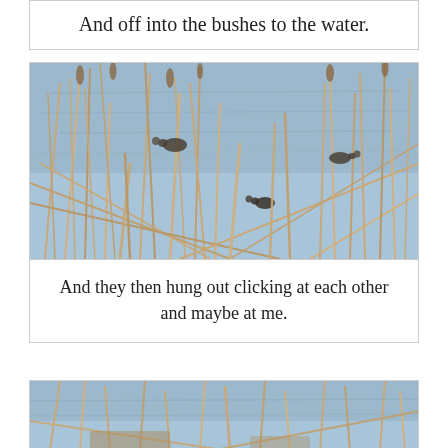And off into the bushes to the water.
[Figure (photo): Photo of birds swimming in water visible through dry reed stalks and cattails in the foreground. Blue rippling water in background with several birds visible among the reeds.]
And they then hung out clicking at each other and maybe at me.
[Figure (photo): Partial view of another photo showing similar reeds and water scene, cropped at bottom of page.]